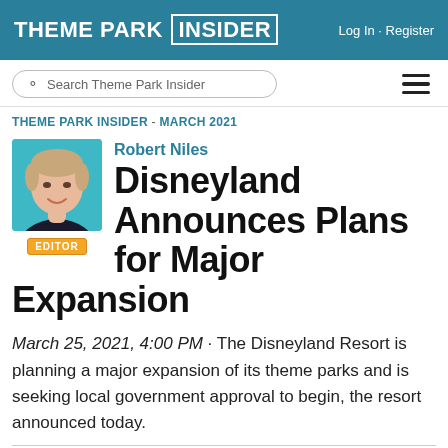THEME PARK INSIDER   Log In · Register
Search Theme Park Insider
THEME PARK INSIDER - MARCH 2021
[Figure (photo): Headshot of Robert Niles against a teal background]
Robert Niles
EDITOR
Disneyland Announces Plans for Major Expansion
March 25, 2021, 4:00 PM · The Disneyland Resort is planning a major expansion of its theme parks and is seeking local government approval to begin, the resort announced today.